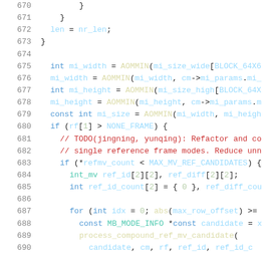Code listing lines 670-690, C/C++ source code showing motion vector reference candidate processing logic.